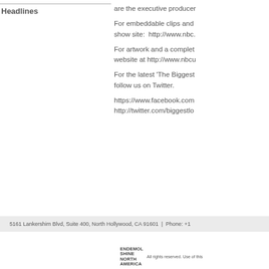Headlines
are the executive producer
For embeddable clips and show site:  http://www.nbc.
For artwork and a complete website at http://www.nbcu
For the latest 'The Biggest follow us on Twitter.
https://www.facebook.com http://twitter.com/biggestlo
5161 Lankershim Blvd, Suite 400, North Hollywood, CA 91601  |  Phone: +1
ENDEMOL SHINE NORTH AMERICA  All rights reserved. Use of this